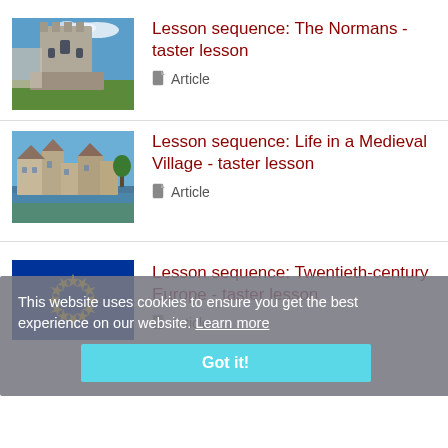[Figure (photo): Norman castle with stone tower against blue sky]
Lesson sequence: The Normans - taster lesson
Article
[Figure (photo): Medieval village with stone buildings and a river]
Lesson sequence: Life in a Medieval Village - taster lesson
Article
[Figure (photo): EU flag with yellow stars on blue background]
Lesson sequence: Twentieth-century Europe - taster lesson
Article
This website uses cookies to ensure you get the best experience on our website. Learn more
Got it!